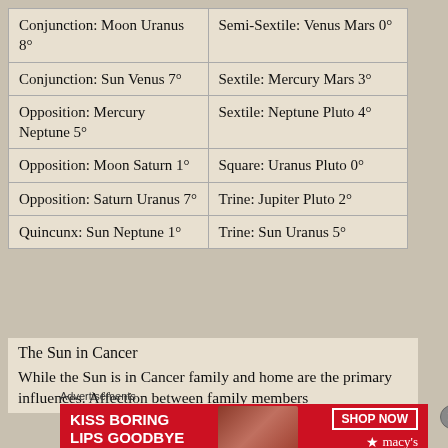| Left Column | Right Column |
| --- | --- |
| Conjunction: Moon Uranus 8° | Semi-Sextile: Venus Mars 0° |
| Conjunction: Sun Venus 7° | Sextile: Mercury Mars 3° |
| Opposition: Mercury Neptune 5° | Sextile: Neptune Pluto 4° |
| Opposition: Moon Saturn 1° | Square: Uranus Pluto 0° |
| Opposition: Saturn Uranus 7° | Trine: Jupiter Pluto 2° |
| Quincunx: Sun Neptune 1° | Trine: Sun Uranus 5° |
The Sun in Cancer
While the Sun is in Cancer family and home are the primary influences. Affection between family members
Advertisements
[Figure (photo): Macy's advertisement: KISS BORING LIPS GOODBYE with SHOP NOW button and Macy's logo, red background with woman's face]